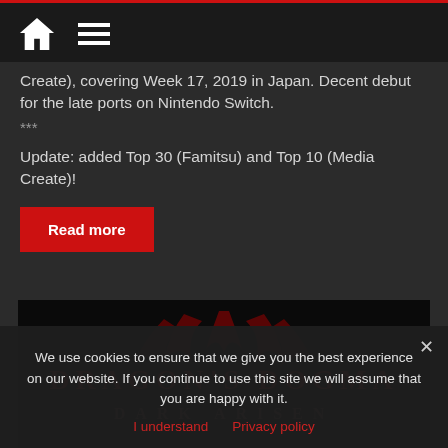Navigation bar with home and menu icons
Create), covering Week 17, 2019 in Japan. Decent debut for the late ports on Nintendo Switch.
***
Update: added Top 30 (Famitsu) and Top 10 (Media Create)!
Read more
[Figure (screenshot): Dragon's Dogma: Dark Arisen logo/title screen with dark background and red stylized text]
We use cookies to ensure that we give you the best experience on our website. If you continue to use this site we will assume that you are happy with it.
I understand   Privacy policy